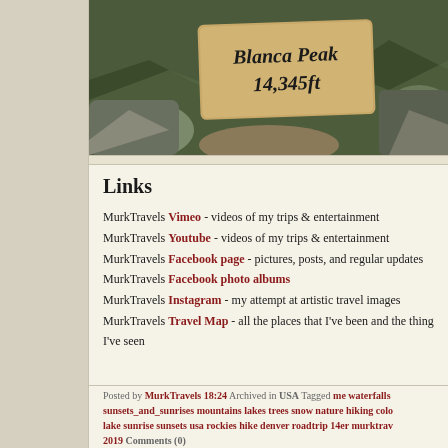[Figure (photo): Photo of a rock sign reading 'Blanca Peak 14,345 ft' surrounded by other rocks]
Links
MurkTravels Vimeo - videos of my trips & entertainment
MurkTravels Youtube - videos of my trips & entertainment
MurkTravels Facebook page - pictures, posts, and regular updates
MurkTravels Facebook photo albums
MurkTravels Instagram - my attempt at artistic travel images
MurkTravels Travel Map - all the places that I've been and the things I've seen
Posted by MurkTravels 18:24 Archived in USA Tagged me waterfalls sunsets_and_sunrises mountains lakes trees snow nature hiking colo lake sunrise sunsets usa rockies hike denver roadtrip 14er murktrav 2019 Comments (0)